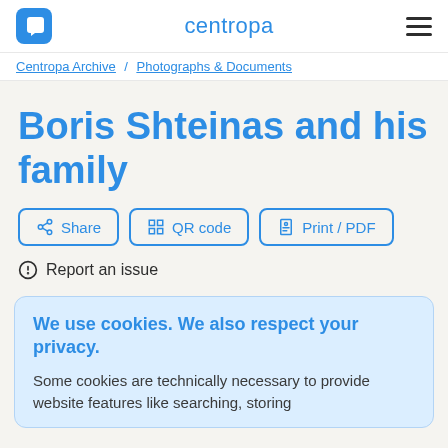centropa
Centropa Archive / Photographs & Documents
Boris Shteinas and his family
Share   QR code   Print / PDF
Report an issue
We use cookies. We also respect your privacy.
Some cookies are technically necessary to provide website features like searching, storing